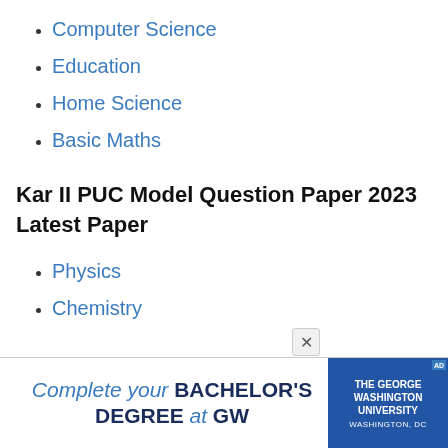Computer Science
Education
Home Science
Basic Maths
Kar II PUC Model Question Paper 2023 Latest Paper
Physics
Chemistry
[Figure (other): Advertisement banner for The George Washington University: Complete your BACHELOR'S DEGREE at GW]